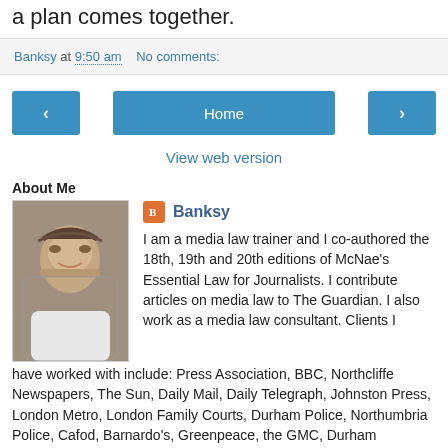a plan comes together.
Banksy at 9:50 am   No comments:
[Figure (other): Navigation buttons: back arrow, Home button, forward arrow, and View web version link]
About Me
[Figure (photo): Profile photo of Banksy - a man with short hair wearing a white t-shirt]
Banksy
I am a media law trainer and I co-authored the 18th, 19th and 20th editions of McNae's Essential Law for Journalists. I contribute articles on media law to The Guardian. I also work as a media law consultant. Clients I have worked with include: Press Association, BBC, Northcliffe Newspapers, The Sun, Daily Mail, Daily Telegraph, Johnston Press, London Metro, London Family Courts, Durham Police, Northumbria Police, Cafod, Barnardo's, Greenpeace, the GMC, Durham University, Durham County Council and Comic Relief. In 2010 I was invited to be a member of the Ministry of Justice's working group